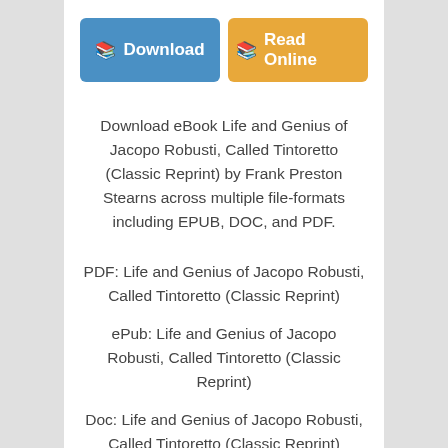[Figure (other): Two buttons: a blue 'Download' button and an orange 'Read Online' button, each with a book icon.]
Download eBook Life and Genius of Jacopo Robusti, Called Tintoretto (Classic Reprint) by Frank Preston Stearns across multiple file-formats including EPUB, DOC, and PDF.
PDF: Life and Genius of Jacopo Robusti, Called Tintoretto (Classic Reprint)
ePub: Life and Genius of Jacopo Robusti, Called Tintoretto (Classic Reprint)
Doc: Life and Genius of Jacopo Robusti, Called Tintoretto (Classic Reprint)
Follow these steps to enable get access Life